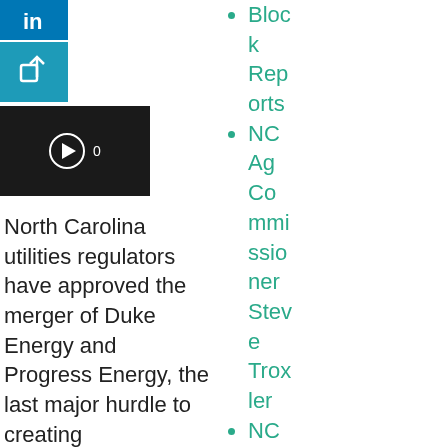[Figure (logo): LinkedIn social share icon, blue background with white 'in' logo]
[Figure (logo): Share/export icon, teal background with white arrow icon]
[Figure (screenshot): Video thumbnail, dark background with play button and count '0']
North Carolina utilities regulators have approved the merger of Duke Energy and Progress Energy, the last major hurdle to creating
Block Reports
NC Ag Commissioner Steve Troxler
NC Commodities Conference